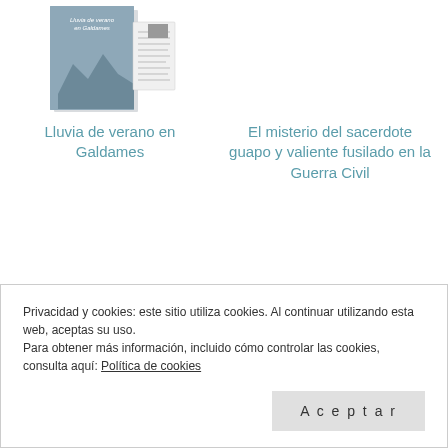[Figure (illustration): Book cover image for 'Lluvia de verano en Galdames' showing a book with a mountain landscape cover and open pages]
Lluvia de verano en Galdames
El misterio del sacerdote guapo y valiente fusilado en la Guerra Civil
Privacidad y cookies: este sitio utiliza cookies. Al continuar utilizando esta web, aceptas su uso.
Para obtener más información, incluido cómo controlar las cookies, consulta aquí: Política de cookies
Aceptar